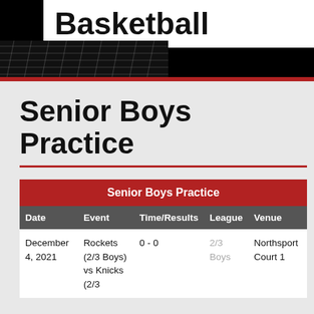Basketball
Senior Boys Practice
| Date | Event | Time/Results | League | Venue |
| --- | --- | --- | --- | --- |
| December 4, 2021 | Rockets (2/3 Boys) vs Knicks (2/3 | 0 - 0 | 2/3 Boys | Northsport Court 1 |